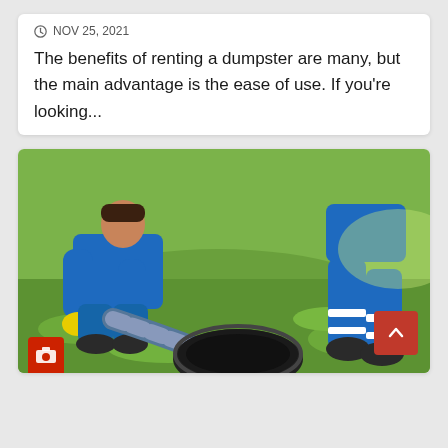NOV 25, 2021
The benefits of renting a dumpster are many, but the main advantage is the ease of use. If you're looking...
[Figure (photo): A worker in a blue uniform and yellow gloves crouching down and inserting a large vacuum hose into a manhole/septic tank opening on a grassy area. A second worker in blue uniform with white reflective stripes is standing nearby.]